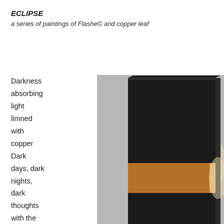ECLIPSE
a series of paintings of Flashe© and copper leaf
Darkness absorbing light limned with copper Dark days, dark nights, dark thoughts with the promise of better times Black
[Figure (photo): A rectangular canvas painting mounted on a wall. The painting has a large black upper section, a horizontal band of copper leaf in the middle that glows warmly, and a black lower section. The background is grey.]